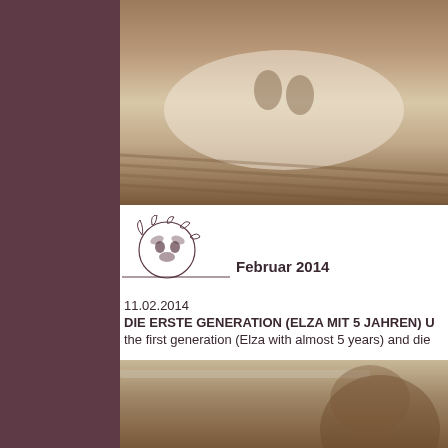[Figure (photo): Sepia-toned photo of a puppy lying on a white towel on a wooden deck surface, top portion of image visible]
[Figure (logo): Black ink illustration of a dog face with decorative wreath/leaves around it, with a horizontal line to the right, serving as a section header logo]
Februar 2014
11.02.2014
DIE ERSTE GENERATION (ELZA MIT 5 JAHREN) U
the first generation (Elza with almost 5 years) and die
[Figure (photo): Sepia-toned close-up photo of a dog, partially cropped, bottom of page]